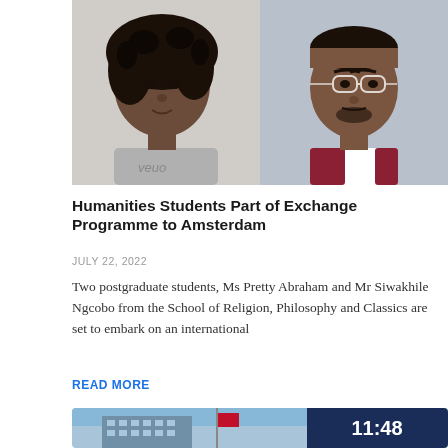[Figure (photo): Two portrait photos side by side: left shows a young Black woman with curly hair wearing a grey t-shirt, right shows a man with glasses and a red blazer]
Humanities Students Part of Exchange Programme to Amsterdam
JULY 22, 2022
Two postgraduate students, Ms Pretty Abraham and Mr Siwakhile Ngcobo from the School of Religion, Philosophy and Classics are set to embark on an international
READ MORE
[Figure (photo): Bottom image showing a modern building with a clock showing 11:48 on the right side]